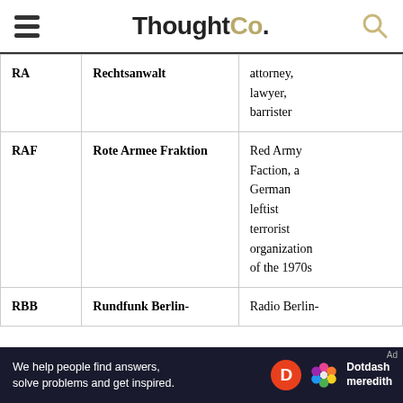ThoughtCo.
| Abbreviation | German | English |
| --- | --- | --- |
| RA | Rechtsanwalt | attorney, lawyer, barrister |
| RAF | Rote Armee Fraktion | Red Army Faction, a German leftist terrorist organization of the 1970s |
| RBB | Rundfunk Berlin- | Radio Berlin- |
Ad — We help people find answers, solve problems and get inspired. Dotdash meredith